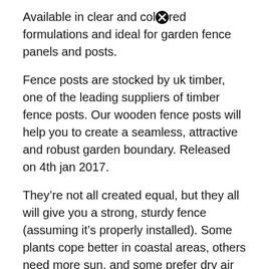Available in clear and coloured formulations and ideal for garden fence panels and posts.
Fence posts are stocked by uk timber, one of the leading suppliers of timber fence posts. Our wooden fence posts will help you to create a seamless, attractive and robust garden boundary. Released on 4th jan 2017.
They’re not all created equal, but they all will give you a strong, sturdy fence (assuming it’s properly installed). Some plants cope better in coastal areas, others need more sun, and some prefer dry air and wind. And if you think you've seen it cheaper elsewhere, let us know and we can try to match the price.